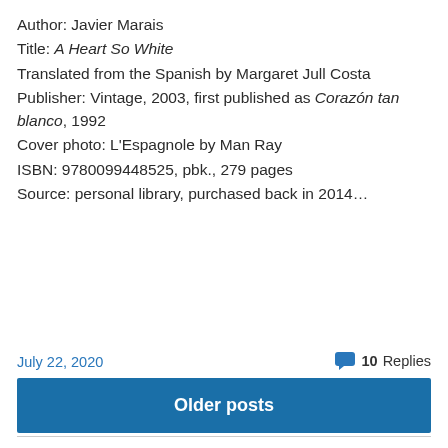Author: Javier Marais
Title: A Heart So White
Translated from the Spanish by Margaret Jull Costa
Publisher: Vintage, 2003, first published as Corazón tan blanco, 1992
Cover photo: L'Espagnole by Man Ray
ISBN: 9780099448525, pbk., 279 pages
Source: personal library, purchased back in 2014…
July 22, 2020
10 Replies
Older posts